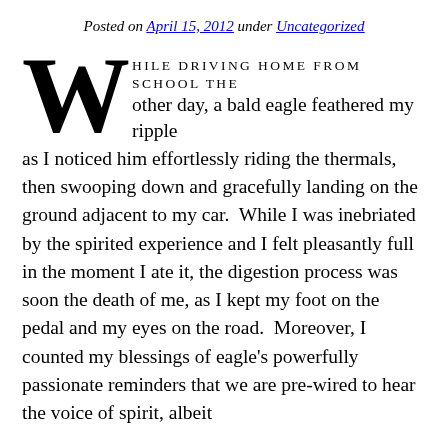Posted on April 15, 2012 under Uncategorized
WHILE DRIVING HOME FROM SCHOOL THE other day, a bald eagle feathered my ripple as I noticed him effortlessly riding the thermals, then swooping down and gracefully landing on the ground adjacent to my car.  While I was inebriated by the spirited experience and I felt pleasantly full in the moment I ate it, the digestion process was soon the death of me, as I kept my foot on the pedal and my eyes on the road.  Moreover, I counted my blessings of eagle's powerfully passionate reminders that we are pre-wired to hear the voice of spirit, albeit